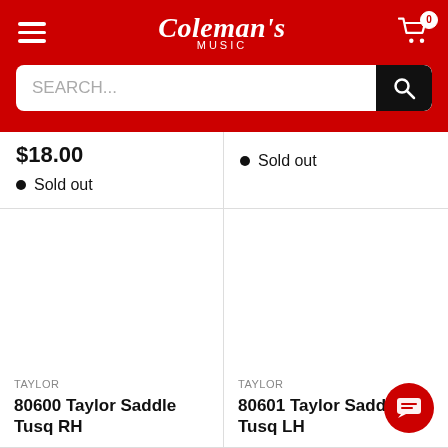[Figure (screenshot): Coleman's Music store website header with red background, hamburger menu icon on left, Coleman's Music script logo in center, and shopping cart icon with badge showing 0 on right. Below is a search bar with SEARCH... placeholder and black search button.]
$18.00
Sold out
Sold out
TAYLOR
80600 Taylor Saddle Tusq RH
TAYLOR
80601 Taylor Saddle Tusq LH